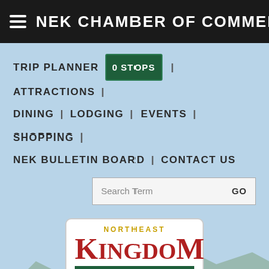NEK CHAMBER OF COMMERCE
TRIP PLANNER 0 STOPS | ATTRACTIONS | DINING | LODGING | EVENTS | SHOPPING | NEK BULLETIN BOARD | CONTACT US
Search Term GO
[Figure (logo): Northeast Kingdom Chamber of Commerce logo — red serif 'KINGDOM' text with gold 'NORTHEAST' above and green banner reading 'Chamber of Commerce' below]